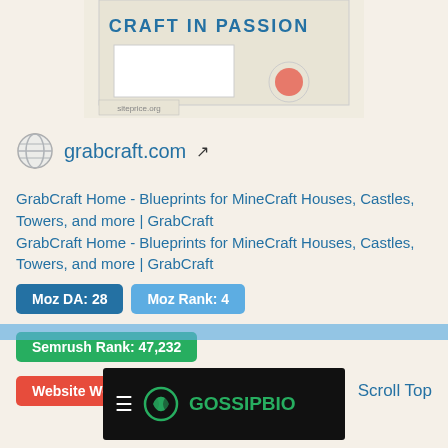[Figure (screenshot): Partial screenshot of a website banner showing 'CRAFT IN PASSION' text and siteprice.org watermark]
grabcraft.com
GrabCraft Home - Blueprints for MineCraft Houses, Castles, Towers, and more | GrabCraft GrabCraft Home - Blueprints for MineCraft Houses, Castles, Towers, and more | GrabCraft
Moz DA: 28
Moz Rank: 4
Semrush Rank: 47,232
Website Worth: $ 57,500
Scroll Top
[Figure (logo): GossipBio logo on black banner with hamburger menu icon]